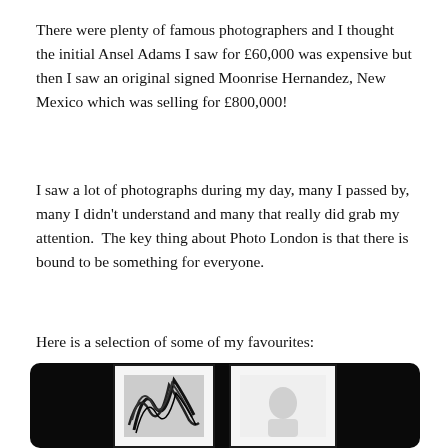There were plenty of famous photographers and I thought the initial Ansel Adams I saw for £60,000 was expensive but then I saw an original signed Moonrise Hernandez, New Mexico which was selling for £800,000!
I saw a lot of photographs during my day, many I passed by, many I didn't understand and many that really did grab my attention.  The key thing about Photo London is that there is bound to be something for everyone.
Here is a selection of some of my favourites:
[Figure (photo): Two framed photographs displayed against a dark background. Left frame shows a black and white abstract wave/feather pattern. Right frame shows a white background with a partial figure/portrait.]